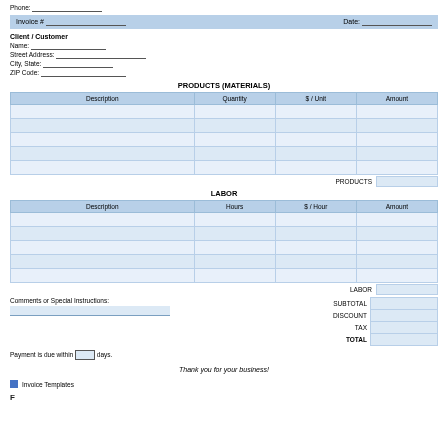Phone: _______________
| Invoice # | Date: |
| --- | --- |
|   |   |
Client / Customer
Name: _______________
Street Address: _______________
City, State: _______________
ZIP Code: _______________
PRODUCTS (MATERIALS)
| Description | Quantity | $ / Unit | Amount |
| --- | --- | --- | --- |
|  |  |  |  |
|  |  |  |  |
|  |  |  |  |
|  |  |  |  |
|  |  |  |  |
PRODUCTS
LABOR
| Description | Hours | $ / Hour | Amount |
| --- | --- | --- | --- |
|  |  |  |  |
|  |  |  |  |
|  |  |  |  |
|  |  |  |  |
|  |  |  |  |
LABOR
Comments or Special Instructions:
| SUBTOTAL | DISCOUNT | TAX | TOTAL |
| --- | --- | --- | --- |
|   |
|   |
|   |
|   |
Payment is due within ____ days.
Thank you for your business!
Invoice Templates
Page bottom text